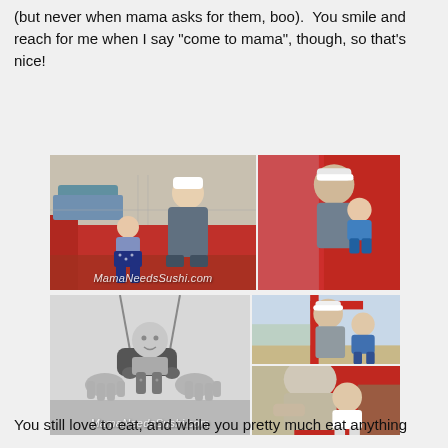(but never when mama asks for them, boo).  You smile and reach for me when I say "come to mama", though, so that's nice!
[Figure (photo): Collage of two playground photos: large left photo shows a man in white cap bending down to talk to a toddler girl on playground equipment; right photo shows a man helping a toddler on a red slide. Watermark reads MamaNeedsSushi.com]
[Figure (photo): Collage of three playground photos: large left black-and-white photo of a toddler in a baby swing with an adult's hands visible; top right color photo of man with white cap holding toddler near red playground frame; bottom right photo of adult leaning over toddler on red slide structure. Watermark reads MamaNeedsSushi.com]
You still love to eat, and while you pretty much eat anything